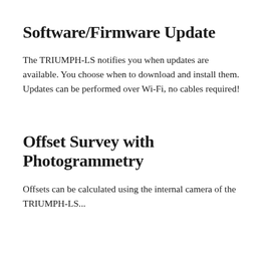Software/Firmware Update
The TRIUMPH-LS notifies you when updates are available. You choose when to download and install them. Updates can be performed over Wi-Fi, no cables required!
Offset Survey with Photogrammetry
Offsets can be calculated using the internal camera of the TRIUMPH-LS...